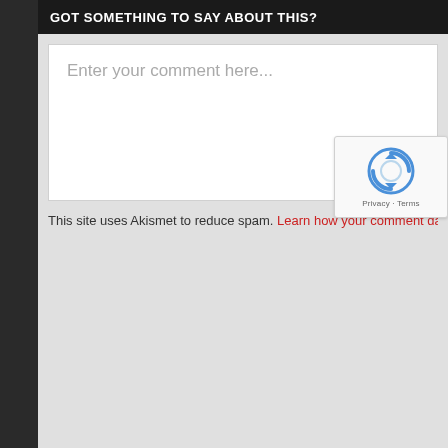GOT SOMETHING TO SAY ABOUT THIS?
[Figure (screenshot): Comment text area input box with placeholder text 'Enter your comment here...']
This site uses Akismet to reduce spam. Learn how your comment data is
[Figure (logo): reCAPTCHA badge with circular arrow icon and 'Privacy - Terms' text below]